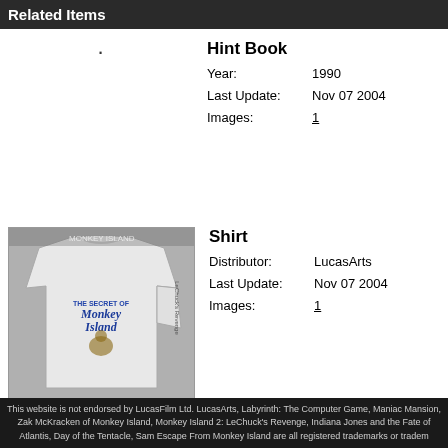Related Items
Hint Book
Year: 1990
Last Update: Nov 07 2004
Images: 1
[Figure (photo): White Monkey Island t-shirt showing back with logo and sleeve text]
Shirt
Distributor: LucasArts
Last Update: Nov 07 2004
Images: 1
This website is not endorsed by LucasFilm Ltd. LucasArts, Labyrinth: The Computer Game, Maniac Mansion, Zak McKracken of Monkey Island, Monkey Island 2: LeChuck's Revenge, Indiana Jones and the Fate of Atlantis, Day of the Tentacle, Sam Escape From Monkey Island are all registered trademarks or tradem